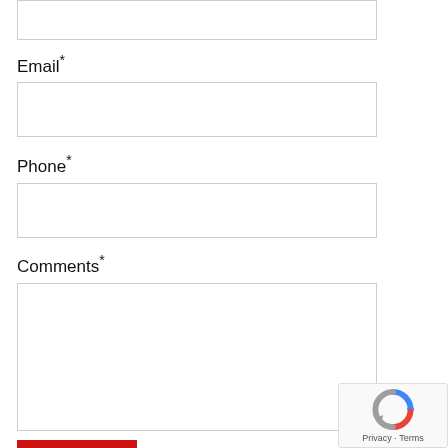[partial input box at top]
Email*
[email input box]
Phone*
[phone input box]
Comments*
[comments textarea]
SEND [button]
[Figure (other): reCAPTCHA badge with logo and Privacy - Terms text]